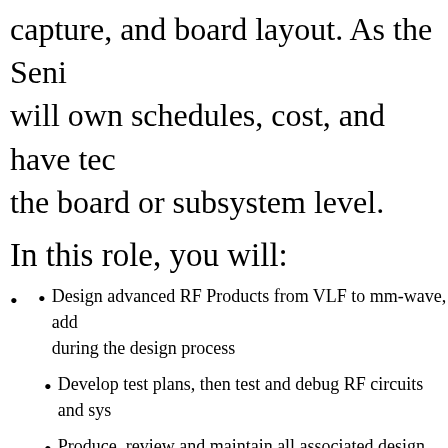capture, and board layout. As the Seni
will own schedules, cost, and have tec
the board or subsystem level.
In this role, you will:
Design advanced RF Products from VLF to mm-wave, add during the design process
Develop test plans, then test and debug RF circuits and sys
Produce, review and maintain all associated design and tes
Estimate RF hardware design tasks, identifying risks, and p
Conduct design reviews